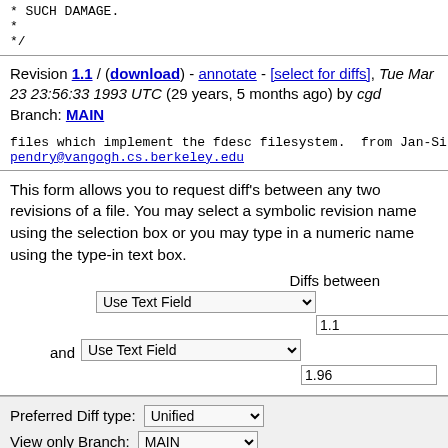* SUCH DAMAGE.
 *
 */
Revision 1.1 / (download) - annotate - [select for diffs], Tue Mar 23 23:56:33 1993 UTC (29 years, 5 months ago) by cgd
Branch: MAIN
files which implement the fdesc filesystem.  from Jan-Simon pendry@vangogh.cs.berkeley.edu
This form allows you to request diff's between any two revisions of a file. You may select a symbolic revision name using the selection box or you may type in a numeric name using the type-in text box.
Diffs between
Use Text Field [dropdown]
1.1
and Use Text Field [dropdown]
1.96
Get Diffs
Preferred Diff type: Unified [dropdown]
View only Branch: MAIN [dropdown]